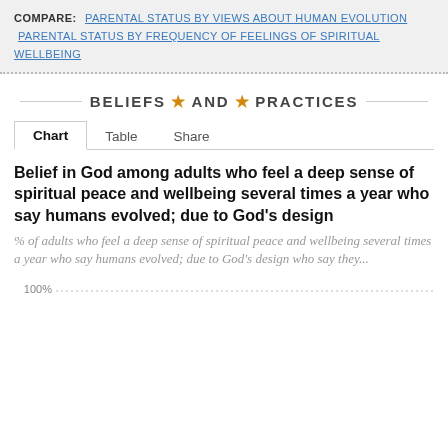COMPARE: PARENTAL STATUS BY VIEWS ABOUT HUMAN EVOLUTION  PARENTAL STATUS BY FREQUENCY OF FEELINGS OF SPIRITUAL WELLBEING
BELIEFS AND PRACTICES
Chart  Table  Share
Belief in God among adults who feel a deep sense of spiritual peace and wellbeing several times a year who say humans evolved; due to God's design
% of adults who feel a deep sense of spiritual peace and wellbeing several times a year who say humans evolved; due to God's design who say they...
[Figure (continuous-plot): Partial view of a chart with a 100% gridline visible at the bottom of the page, dotted line style]